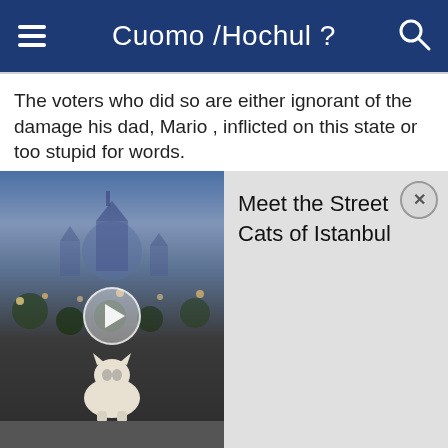Cuomo /Hochul ?
The voters who did so are either ignorant of the damage his dad, Mario , inflicted on this state or too stupid for words.
[Figure (screenshot): Video thumbnail showing a street cat in Istanbul with a play button overlay. Adjacent panel shows title 'Meet the Street Cats of Istanbul' with a close (X) button.]
RWR , 10-13-2014 08:33 AM
Nontypical Buck
Lets wind up all NYS nra members, we can do it.
Reply